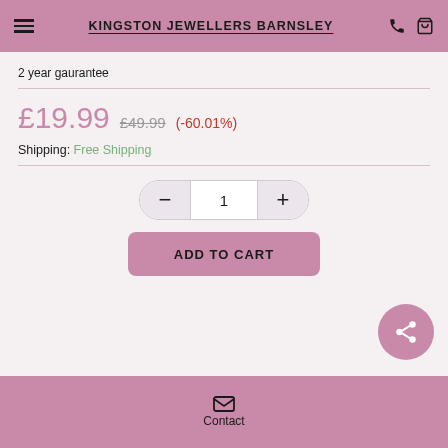KINGSTON JEWELLERS BARNSLEY
2 year gaurantee
£19.99  £49.99 (-60.01%)
Shipping: Free Shipping
[Figure (other): Quantity selector with minus and plus buttons showing value 1, and ADD TO CART button]
Contact